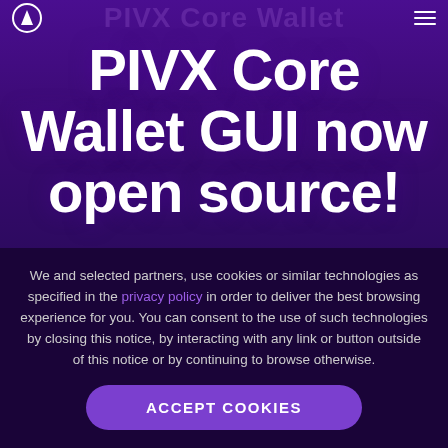PIVX Core Wallet (watermark/nav header)
PIVX Core Wallet GUI now open source!
A major development work that has taken nearly half a year has been
We and selected partners, use cookies or similar technologies as specified in the privacy policy in order to deliver the best browsing experience for you. You can consent to the use of such technologies by closing this notice, by interacting with any link or button outside of this notice or by continuing to browse otherwise.
ACCEPT COOKIES